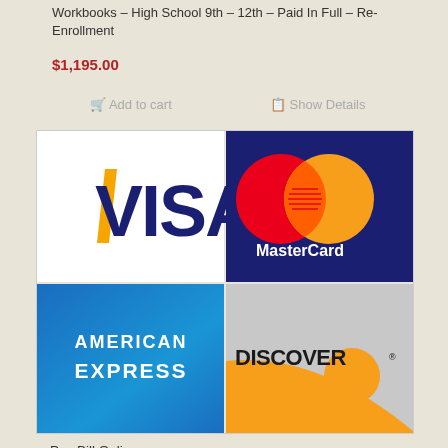Workbooks – High School 9th – 12th – Paid In Full – Re-Enrollment
$1,195.00
Add to cart
Show Details
[Figure (logo): Payment method logos: Visa, MasterCard, American Express, Discover]
Pay Bill Online